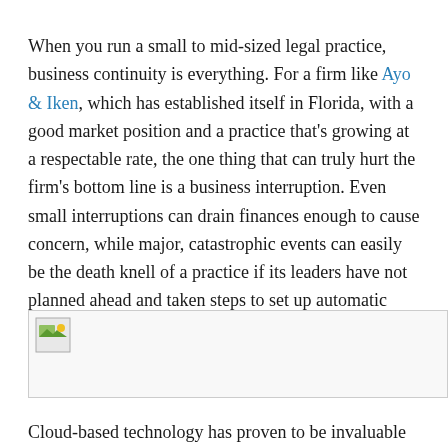When you run a small to mid-sized legal practice, business continuity is everything. For a firm like Ayo & Iken, which has established itself in Florida, with a good market position and a practice that's growing at a respectable rate, the one thing that can truly hurt the firm's bottom line is a business interruption. Even small interruptions can drain finances enough to cause concern, while major, catastrophic events can easily be the death knell of a practice if its leaders have not planned ahead and taken steps to set up automatic business continuity processes.
[Figure (photo): An image placeholder with a small photo/image icon in the top-left corner, partially visible, representing an article image related to cloud-based business continuity.]
Cloud-based technology has proven to be invaluable to business continuity planning. In its mature form, the cloud has proven to be scalable and reliable, while offering a high depth of functionality, in essence allowing firms to create a virtual business online. Everything you previously did on-site or manually with disparate